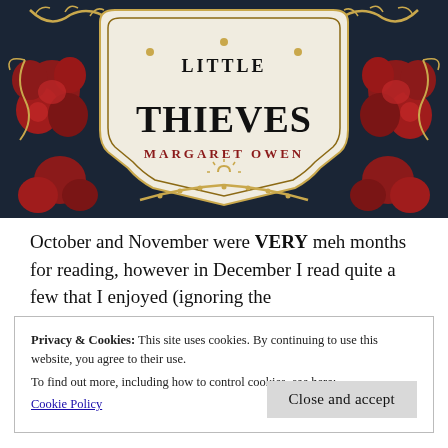[Figure (illustration): Book cover of 'Little Thieves' by Margaret Owen. Dark navy background with red roses, gold foliage, and decorative ornamental frame. Title 'LITTLE THIEVES' in large black serif letters centered in a white ornate badge. Author name 'MARGARET OWEN' in gold/red capitals below the title within the badge.]
October and November were VERY meh months for reading, however in December I read quite a few that I enjoyed (ignoring the
Privacy & Cookies: This site uses cookies. By continuing to use this website, you agree to their use.
To find out more, including how to control cookies, see here:
Cookie Policy
Close and accept